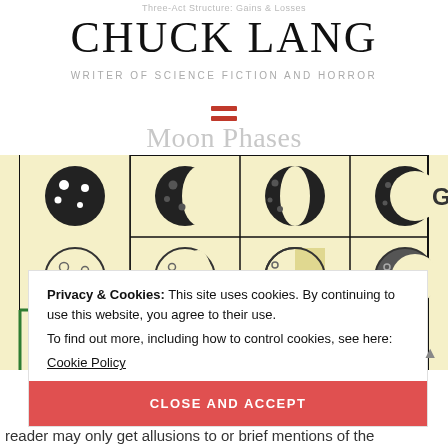Three-Act Structure: Gains & Losses
CHUCK LANG
WRITER OF SCIENCE FICTION AND HORROR
[Figure (infographic): Hamburger menu icon with two red horizontal bars]
Moon Phases
[Figure (table-as-image): Moon phases table showing various moon phase icons in rows on a yellow/cream background with black grid lines. Two rows of four moon phase circles each showing different phases from full to crescent. A 'Scene' label is visible at the bottom. A partial column header 'Ga' is visible at the right edge.]
Privacy & Cookies: This site uses cookies. By continuing to use this website, you agree to their use.
To find out more, including how to control cookies, see here:
Cookie Policy
CLOSE AND ACCEPT
reader may only get allusions to or brief mentions of the